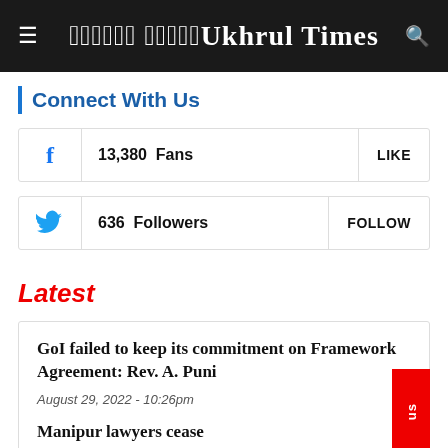Ukhrul Times
Connect With Us
13,380  Fans  LIKE
636  Followers  FOLLOW
Latest
GoI failed to keep its commitment on Framework Agreement: Rev. A. Puni
August 29, 2022 - 10:26pm
Manipur lawyers cease